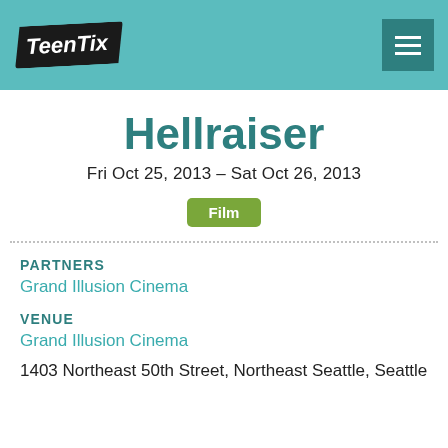TeenTix
Hellraiser
Fri Oct 25, 2013 – Sat Oct 26, 2013
Film
PARTNERS
Grand Illusion Cinema
VENUE
Grand Illusion Cinema
1403 Northeast 50th Street, Northeast Seattle, Seattle